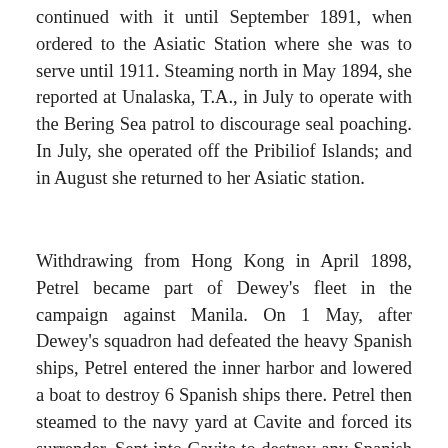continued with it until September 1891, when ordered to the Asiatic Station where she was to serve until 1911. Steaming north in May 1894, she reported at Unalaska, T.A., in July to operate with the Bering Sea patrol to discourage seal poaching. In July, she operated off the Pribiliof Islands; and in August she returned to her Asiatic station.
Withdrawing from Hong Kong in April 1898, Petrel became part of Dewey's fleet in the campaign against Manila. On 1 May, after Dewey's squadron had defeated the heavy Spanish ships, Petrel entered the inner harbor and lowered a boat to destroy 6 Spanish ships there. Petrel then steamed to the navy yard at Cavite and forced its surrender. Sent into Cavite to destroy any Spanish ships seeking refuge there 2 May, Petrel sent a party ashore which seized the arsenal at Cavite and returned with 2 tugs. Rapido